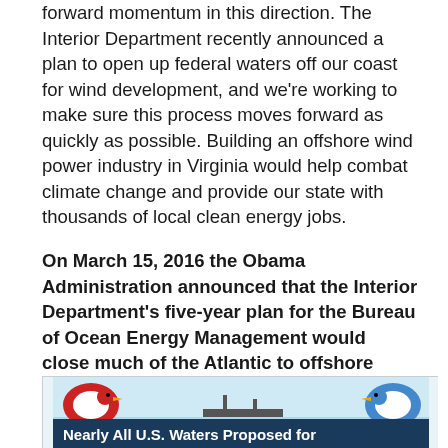forward momentum in this direction. The Interior Department recently announced a plan to open up federal waters off our coast for wind development, and we're working to make sure this process moves forward as quickly as possible. Building an offshore wind power industry in Virginia would help combat climate change and provide our state with thousands of local clean energy jobs.
On March 15, 2016 the Obama Administration announced that the Interior Department's five-year plan for the Bureau of Ocean Energy Management would close much of the Atlantic to offshore drilling through 2022. This was a great victory, and in no small part a result of the hard work that climate activists like you from put in up and down the Mid-Atlantic.
[Figure (infographic): Infographic banner with cartoon birds on left and right, dark navy background with bold white text reading 'Nearly All U.S. Waters Proposed for']